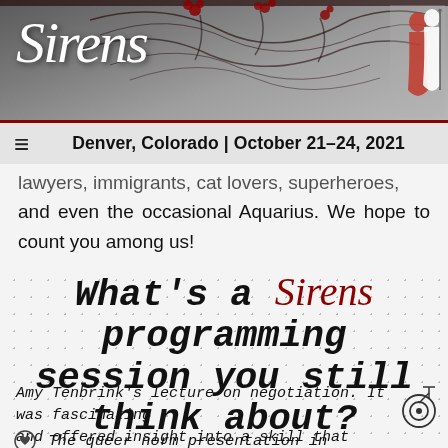[Figure (illustration): Sirens conference website header banner with grey gradient background, decorative swirling black vine/branch patterns, red berry accents, 'Sirens' script logo in white on the left, and a red and white silhouette of two figures on the right]
Denver, Colorado | October 21–24, 2021
lawyers, immigrants, cat lovers, superheroes, and even the occasional Aquarius. We hope to count you among us!
What's a Sirens programming session you still think about?
Amy Tenbrink's lecture on negotiation. It was fascinating and offered insight into a skill that honestly anyone can use
♡ The queer norm presentation in 2019
The impromptu session about horses with Jennifer Adams & Artemis Gray